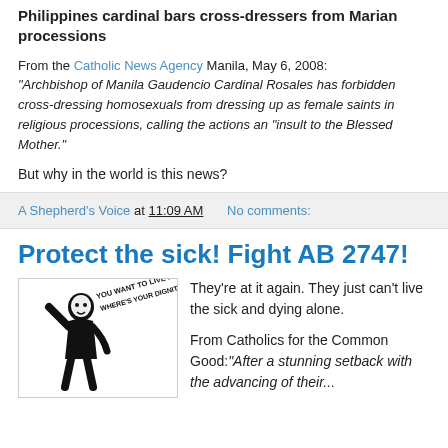Philippines cardinal bars cross-dressers from Marian processions
From the Catholic News Agency Manila, May 6, 2008: "Archbishop of Manila Gaudencio Cardinal Rosales has forbidden cross-dressing homosexuals from dressing up as female saints in religious processions, calling the actions an "insult to the Blessed Mother."
But why in the world is this news?
A Shepherd's Voice at 11:09 AM   No comments:
Protect the sick! Fight AB 2747!
[Figure (illustration): Black and white illustration of a person with text 'YOU WANT TO LIVE !!! WHERE'S YOUR DIGNITY !']
They're at it again. They just can't live the sick and dying alone.
From Catholics for the Common Good:"After a stunning setback with the advancing of their..."